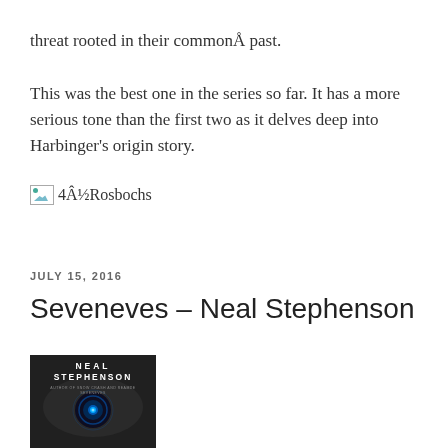threat rooted in their commonÅ past.

This was the best one in the series so far. It has a more serious tone than the first two as it delves deep into Harbinger's origin story.
[Figure (illustration): Broken image placeholder showing icon with text '4Â½Rosbochs']
JULY 15, 2016
Seveneves – Neal Stephenson
[Figure (photo): Book cover of Seveneves by Neal Stephenson — dark background with blue glowing orb/eye, author name in large white letters at top, title text below]